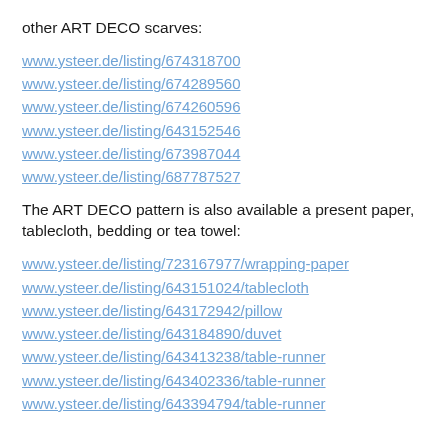other ART DECO scarves:
www.ysteer.de/listing/674318700
www.ysteer.de/listing/674289560
www.ysteer.de/listing/674260596
www.ysteer.de/listing/643152546
www.ysteer.de/listing/673987044
www.ysteer.de/listing/687787527
The ART DECO pattern is also available a present paper, tablecloth, bedding or tea towel:
www.ysteer.de/listing/723167977/wrapping-paper
www.ysteer.de/listing/643151024/tablecloth
www.ysteer.de/listing/643172942/pillow
www.ysteer.de/listing/643184890/duvet
www.ysteer.de/listing/643413238/table-runner
www.ysteer.de/listing/643402336/table-runner
www.ysteer.de/listing/643394794/table-runner